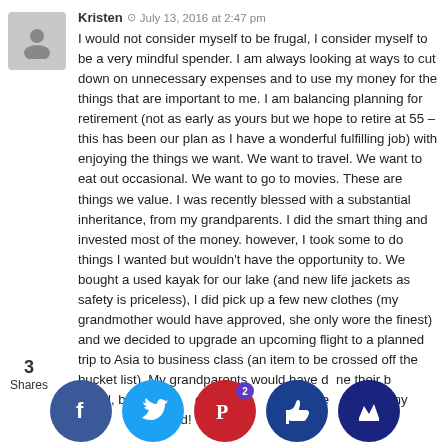Kristen · July 13, 2016 at 2:47 pm
I would not consider myself to be frugal, I consider myself to be a very mindful spender. I am always looking at ways to cut down on unnecessary expenses and to use my money for the things that are important to me. I am balancing planning for retirement (not as early as yours but we hope to retire at 55 – this has been our plan as I have a wonderful fulfilling job) with enjoying the things we want. We want to travel. We want to eat out occasional. We want to go to movies. These are things we value. I was recently blessed with a substantial inheritance, from my grandparents. I did the smart thing and invested most of the money. however, I took some to do things I wanted but wouldn't have the opportunity to. We bought a used kayak for our lake (and new life jackets as safety is priceless), I did pick up a few new clothes (my grandmother would have approved, she only wore the finest) and we decided to upgrade an upcoming flight to a planned trip to Asia to business class (an item to be crossed off the bucket list). My grandparents would have done their best frugal, but I don't know, you can be frugal and never fly economy travelling the world!
3
Shares